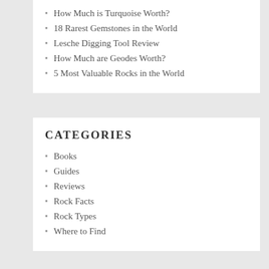How Much is Turquoise Worth?
18 Rarest Gemstones in the World
Lesche Digging Tool Review
How Much are Geodes Worth?
5 Most Valuable Rocks in the World
CATEGORIES
Books
Guides
Reviews
Rock Facts
Rock Types
Where to Find